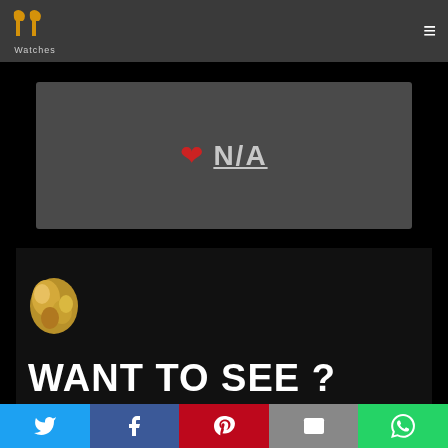PP Watches — navigation header with logo and hamburger menu
[Figure (screenshot): Dark gray card panel showing a red heart icon and 'N/A' text in white underlined]
[Figure (screenshot): Dark promotional banner with gold nugget image and large white text 'WANT TO SEE ?']
Social share buttons: Twitter, Facebook, Pinterest, Email, WhatsApp